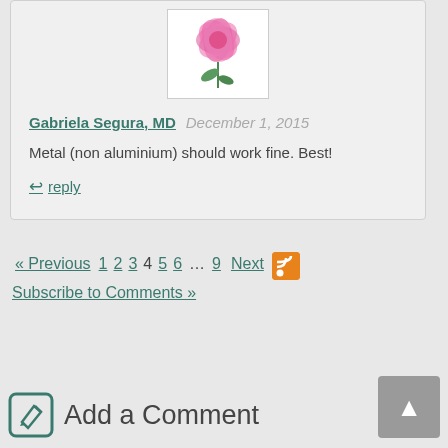[Figure (illustration): Pink flower illustration on white background, partial view at top of comment block]
Gabriela Segura, MD  December 1, 2015
Metal (non aluminium) should work fine. Best!
reply
« Previous 1 2 3 4 5 6 … 9 Next Subscribe to Comments »
Add a Comment